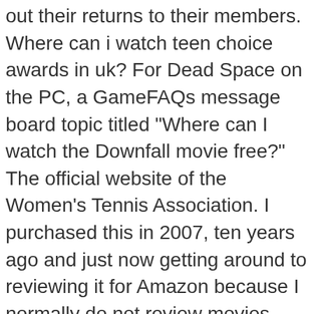out their returns to their members. Where can i watch teen choice awards in uk? For Dead Space on the PC, a GameFAQs message board topic titled "Where can I watch the Downfall movie free?" The official website of the Women's Tennis Association. I purchased this in 2007, ten years ago and just now getting around to reviewing it for Amazon because I normally do not review movies, mainly music. Hari Nada is scheduled to take the stand in the trial of Greg Kelly, the former Nissan director who was arrested on the same day as former CEO Carlos Ghosn in 2018. You can watch as much as you want, whenever you want, without a single advert – all for one low monthly price. It's the movie about the last days of Hitler in his Bunker. Travelling or based outside United Kingdom? A marvellous film with amazing attention to detail, focusing on the collapse of the Third Reich and the gradually, street by street, house by house destruction of Berlin. Netflix and third parties use cookies and similar technologies on this website to collect information about your browsing activities which we use